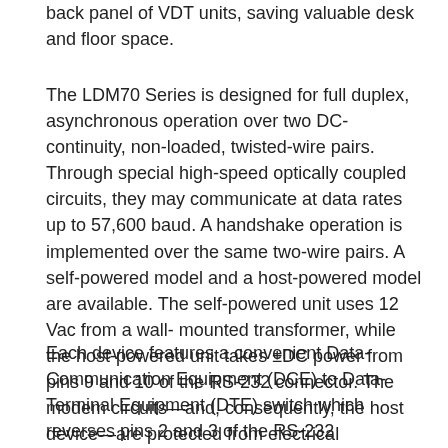back panel of VDT units, saving valuable desk and floor space.
The LDM70 Series is designed for full duplex, asynchronous operation over two DC-continuity, non-loaded, twisted-wire pairs. Through special high-speed optically coupled circuits, they may communicate at data rates up to 57,600 baud. A handshake operation is implemented over the same two-wire pairs. A self-powered model and a host-powered model are available. The self-powered unit uses 12 Vac from a wall-mounted transformer, while the host-powered unit takes ±DC power from pins 9 and 10 of the RS-232 connector. The modem circuits—and, consequently, the host device—are protected from electrical transients due to lightning strikes or operation of heavy industrial equipment.
Each device features a convenient Data-Communication Equipment (DCE) to Data-Terminal Equipment (DTE) switch which reverses pins 2 and 3 of the RS-232 connector. For installation and troubleshooting, each unit has diagnostic light-